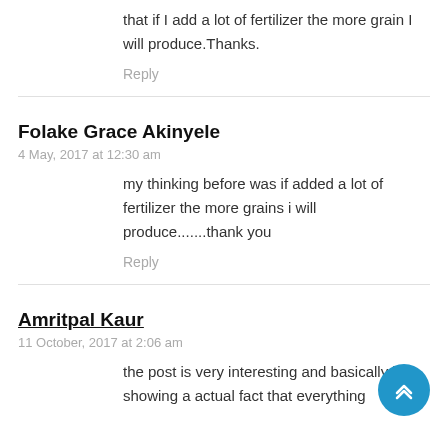that if I add a lot of fertilizer the more grain I will produce.Thanks.
Reply
Folake Grace Akinyele
4 May, 2017 at 12:30 am
my thinking before was if added a lot of fertilizer the more grains i will produce.......thank you
Reply
Amritpal Kaur
11 October, 2017 at 2:06 am
the post is very interesting and basically is showing a actual fact that everything